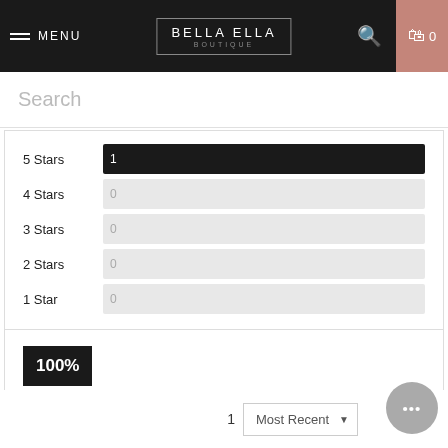MENU | BELLA ELLA | 0
Search
[Figure (bar-chart): Star Ratings]
100% of reviewers would recommend this product to a friend
1
Most Recent